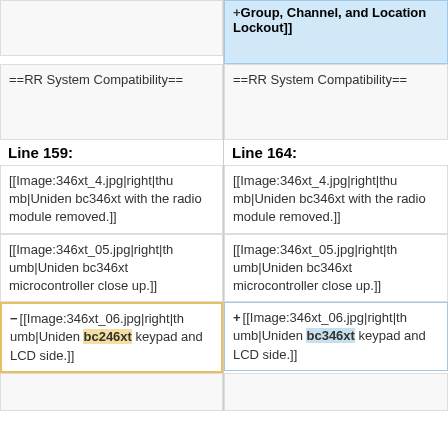+Group, Channel, and Location Lockout]]
==RR System Compatibility==
==RR System Compatibility==
Line 159:
Line 164:
[[Image:346xt_4.jpg|right|thumb|Uniden bc346xt with the radio module removed.]]
[[Image:346xt_4.jpg|right|thumb|Uniden bc346xt with the radio module removed.]]
[[Image:346xt_05.jpg|right|thumb|Uniden bc346xt microcontroller close up.]]
[[Image:346xt_05.jpg|right|thumb|Uniden bc346xt microcontroller close up.]]
[[Image:346xt_06.jpg|right|thumb|Uniden bc246xt keypad and LCD side.]]
[[Image:346xt_06.jpg|right|thumb|Uniden bc346xt keypad and LCD side.]]